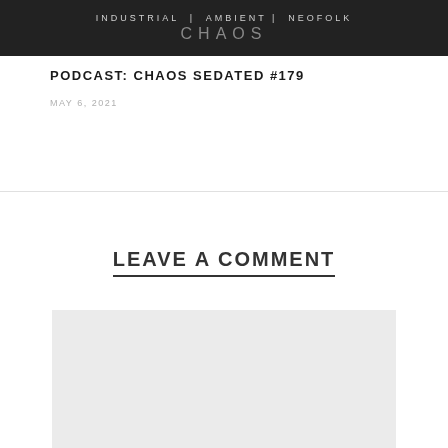[Figure (illustration): Dark banner image with text 'INDUSTRIAL | AMBIENT | NEOFOLK' and 'CHAOS' in large letters on a dark background]
PODCAST: CHAOS SEDATED #179
MAY 6, 2021
LEAVE A COMMENT